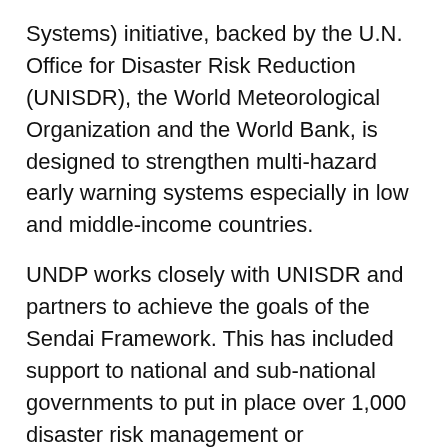Systems) initiative, backed by the U.N. Office for Disaster Risk Reduction (UNISDR), the World Meteorological Organization and the World Bank, is designed to strengthen multi-hazard early warning systems especially in low and middle-income countries.
UNDP works closely with UNISDR and partners to achieve the goals of the Sendai Framework. This has included support to national and sub-national governments to put in place over 1,000 disaster risk management or preparedness plans over the past four years, including early warning technology and capacity support to many countries with high levels of disaster risk.
Yet, even with these efforts, over 80 percent of the world's 48 least developed countries and many small island developing territories and states have only a basic early warning system, and weather observation networks are